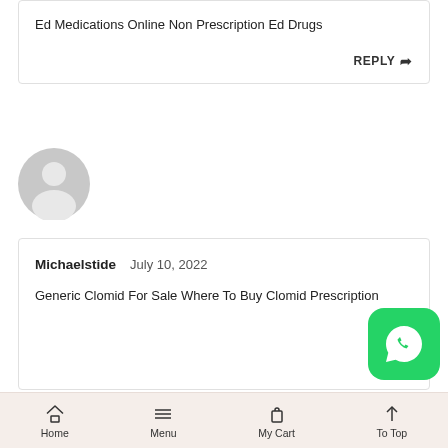Ed Medications Online Non Prescription Ed Drugs
REPLY
[Figure (illustration): Generic user avatar — grey circle with silhouette head and shoulders]
Michaelstide   July 10, 2022
Generic Clomid For Sale Where To Buy Clomid Prescription
REPLY
[Figure (logo): WhatsApp logo — white phone icon on green rounded square background]
Home   Menu   My Cart   To Top